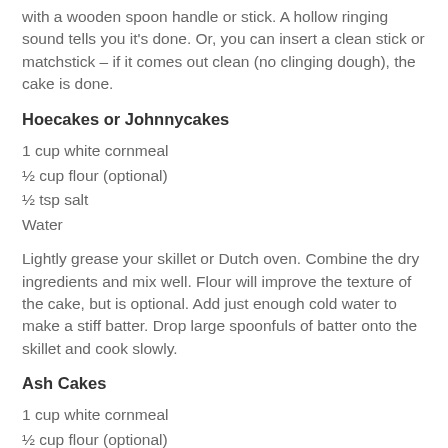with a wooden spoon handle or stick. A hollow ringing sound tells you it's done. Or, you can insert a clean stick or matchstick – if it comes out clean (no clinging dough), the cake is done.
Hoecakes or Johnnycakes
1 cup white cornmeal
½ cup flour (optional)
½ tsp salt
Water
Lightly grease your skillet or Dutch oven. Combine the dry ingredients and mix well. Flour will improve the texture of the cake, but is optional. Add just enough cold water to make a stiff batter. Drop large spoonfuls of batter onto the skillet and cook slowly.
Ash Cakes
1 cup white cornmeal
½ cup flour (optional)